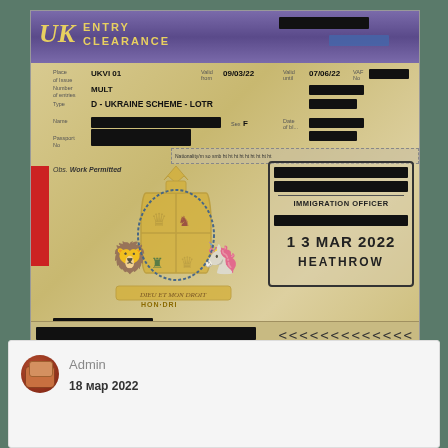[Figure (photo): UK Entry Clearance visa document with 'D - UKRAINE SCHEME - LOTR' type, UKV101 place of issue, valid from 09/03/22 until 07/06/22, MULT entries, immigration officer stamp dated 13 MAR 2022 at HEATHROW, royal coat of arms watermark, personal details redacted with black blocks]
Admin
18 мар 2022